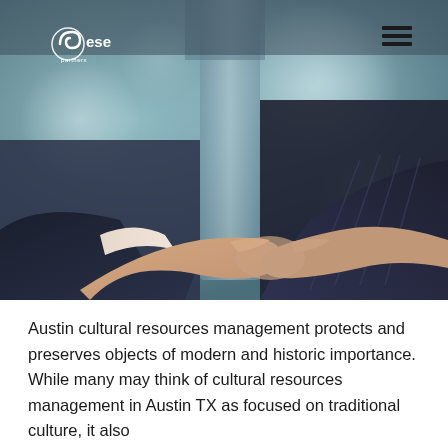[Figure (photo): Two people in business attire shaking hands in close-up, with a blurred blue-grey background]
[Figure (logo): ese partners logo in white, circular swirl icon with text 'ese partners']
[Figure (other): Hamburger menu icon (three horizontal lines) in dark color, top right corner]
Austin cultural resources management protects and preserves objects of modern and historic importance. While many may think of cultural resources management in Austin TX as focused on traditional culture, it also